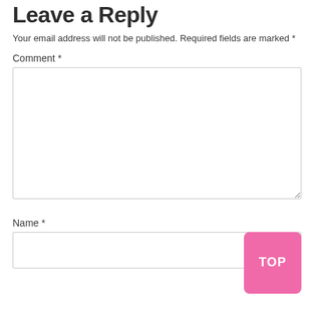Leave a Reply
Your email address will not be published. Required fields are marked *
Comment *
[Figure (other): Empty comment textarea input field with resize handle]
Name *
[Figure (other): Name text input field with a pink TOP button overlay in bottom right]